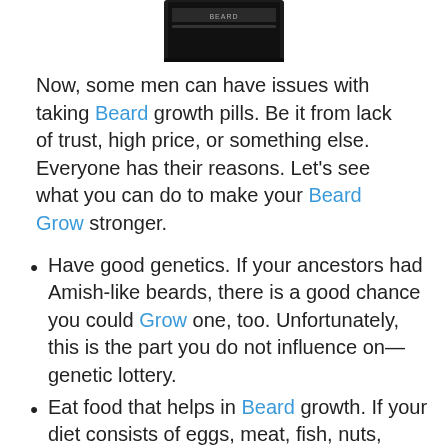[Figure (photo): Bottom portion of a dark/black cylindrical product bottle or container, cropped at top]
Now, some men can have issues with taking Beard growth pills. Be it from lack of trust, high price, or something else. Everyone has their reasons. Let's see what you can do to make your Beard Grow stronger.
Have good genetics. If your ancestors had Amish-like beards, there is a good chance you could Grow one, too. Unfortunately, this is the part you do not influence on—genetic lottery.
Eat food that helps in Beard growth. If your diet consists of eggs, meat, fish, nuts, fruits, and veggies, you will have all the natural ingredients there. The only problem is that the